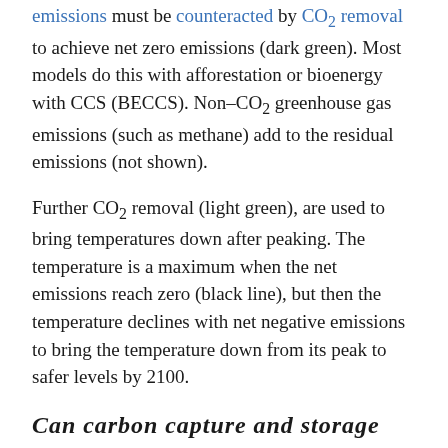emissions must be counteracted by CO₂ removal to achieve net zero emissions (dark green). Most models do this with afforestation or bioenergy with CCS (BECCS). Non-CO₂ greenhouse gas emissions (such as methane) add to the residual emissions (not shown).
Further CO₂ removal (light green), are used to bring temperatures down after peaking. The temperature is a maximum when the net emissions reach zero (black line), but then the temperature declines with net negative emissions to bring the temperature down from its peak to safer levels by 2100.
Can carbon capture and storage be avoided?